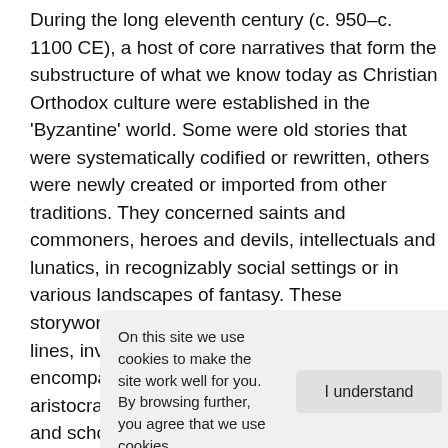During the long eleventh century (c. 950–c. 1100 CE), a host of core narratives that form the substructure of what we know today as Christian Orthodox culture were established in the 'Byzantine' world. Some were old stories that were systematically codified or rewritten, others were newly created or imported from other traditions. They concerned saints and commoners, heroes and devils, intellectuals and lunatics, in recognizably social settings or in various landscapes of fantasy. These storyworlds cut across secular and religious lines, involved verbal and pictorial arts, encompassed a variety of communities, from aristocratic settings to the common church-goer and school pupi[l...] inter[...] of Byza[ntine...] Geo[...] ject is to [...] l, but largely neglected cultural production. We wish to study it...
On this site we use cookies to make the site work well for you. By browsing further, you agree that we use cookies. | I understand